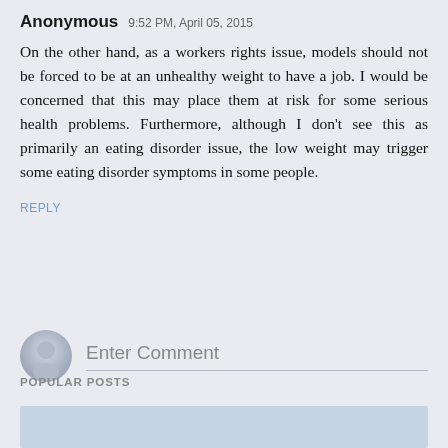Anonymous 9:52 PM, April 05, 2015
On the other hand, as a workers rights issue, models should not be forced to be at an unhealthy weight to have a job. I would be concerned that this may place them at risk for some serious health problems. Furthermore, although I don't see this as primarily an eating disorder issue, the low weight may trigger some eating disorder symptoms in some people.
REPLY
Enter Comment
POPULAR POSTS